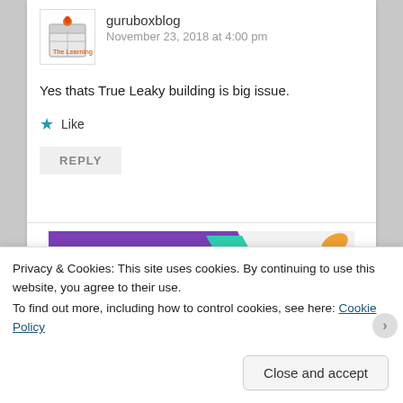guruboxblog
November 23, 2018 at 4:00 pm
Yes thats True Leaky building is big issue.
★ Like
REPLY
[Figure (illustration): WooCommerce advertisement banner: purple left section with WooCommerce logo and teal arrow, right section with text 'How to start selling subscriptions online' and orange and blue leaf decorations. 'REPORT THIS AD' in small text at bottom right.]
Privacy & Cookies: This site uses cookies. By continuing to use this website, you agree to their use.
To find out more, including how to control cookies, see here: Cookie Policy
Close and accept